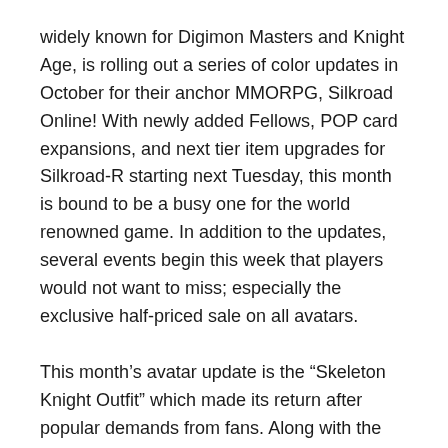widely known for Digimon Masters and Knight Age, is rolling out a series of color updates in October for their anchor MMORPG, Silkroad Online! With newly added Fellows, POP card expansions, and next tier item upgrades for Silkroad-R starting next Tuesday, this month is bound to be a busy one for the world renowned game. In addition to the updates, several events begin this week that players would not want to miss; especially the exclusive half-priced sale on all avatars.
This month's avatar update is the “Skeleton Knight Outfit” which made its return after popular demands from fans. Along with the re-release of the fan-favorite avatar, Silkroad Online announces a major half-priced sale on all available avatars for a limited time only. Players must be swift to gain this rare event as the offer ends on October 23rd.